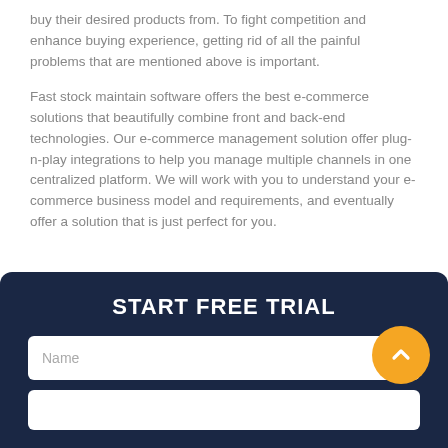buy their desired products from. To fight competition and enhance buying experience, getting rid of all the painful problems that are mentioned above is important.
Fast stock maintain software offers the best e-commerce solutions that beautifully combine front and back-end technologies. Our e-commerce management solution offer plug-n-play integrations to help you manage multiple channels in one centralized platform. We will work with you to understand your e-commerce business model and requirements, and eventually offer a solution that is just perfect for you.
START FREE TRIAL
Name